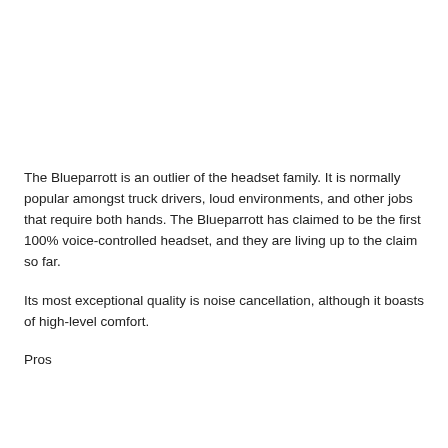The Blueparrott is an outlier of the headset family. It is normally popular amongst truck drivers, loud environments, and other jobs that require both hands. The Blueparrott has claimed to be the first 100% voice-controlled headset, and they are living up to the claim so far.
Its most exceptional quality is noise cancellation, although it boasts of high-level comfort.
Pros